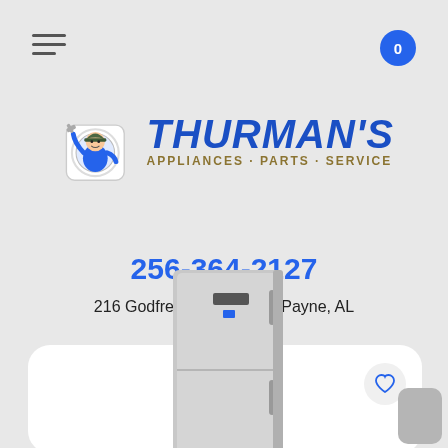[Figure (screenshot): Hamburger menu icon (three horizontal lines) in top left corner of mobile app header]
[Figure (other): Shopping cart badge with number 0, blue circle, top right corner]
[Figure (logo): Thurman's Appliances Parts Service logo: cartoon technician mascot inside washing machine drum on left, bold italic blue THURMAN'S text with golden APPLIANCES · PARTS · SERVICE subtitle on right]
256-364-2127
216 Godfrey Ave NE, Fort Payne, AL
[Figure (photo): Product card showing a stainless steel upright freezer/refrigerator appliance on white background, with a heart/wishlist button in the top right of the card]